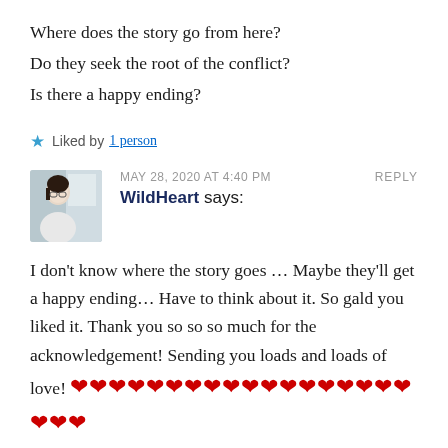Where does the story go from here?
Do they seek the root of the conflict?
Is there a happy ending?
★ Liked by 1 person
MAY 28, 2020 AT 4:40 PM   REPLY
WildHeart says:
I don't know where the story goes … Maybe they'll get a happy ending… Have to think about it. So gald you liked it. Thank you so so so much for the acknowledgement! Sending you loads and loads of love! ❤❤❤❤❤❤❤❤❤❤❤❤❤❤❤❤❤❤❤